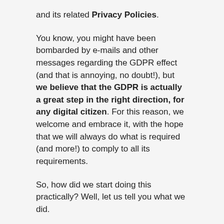and its related Privacy Policies.
You know, you might have been bombarded by e-mails and other messages regarding the GDPR effect (and that is annoying, no doubt!), but we believe that the GDPR is actually a great step in the right direction, for any digital citizen. For this reason, we welcome and embrace it, with the hope that we will always do what is required (and more!) to comply to all its requirements.
So, how did we start doing this practically? Well, let us tell you what we did.
WE COMMUNICATE TERMS BETTER